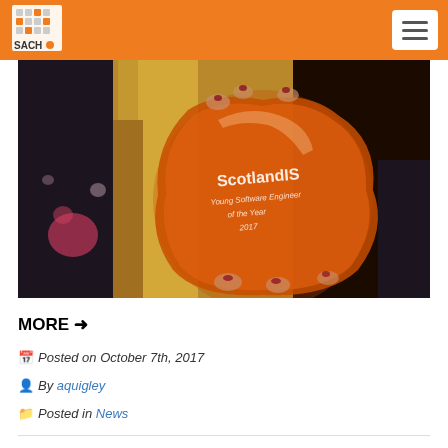SACH logo and navigation menu
[Figure (photo): A woman with long blonde hair holding a transparent orange/red crystal award trophy. The award reads 'ScotlandIS Young Software Engineer of the Year 2017'.]
MORE →
Posted on October 7th, 2017
By aquigley
Posted in News